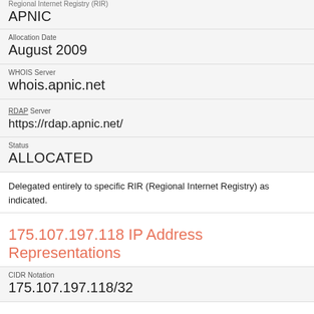Regional Internet Registry (RIR)
APNIC
Allocation Date
August 2009
WHOIS Server
whois.apnic.net
RDAP Server
https://rdap.apnic.net/
Status
ALLOCATED
Delegated entirely to specific RIR (Regional Internet Registry) as indicated.
175.107.197.118 IP Address Representations
CIDR Notation
175.107.197.118/32